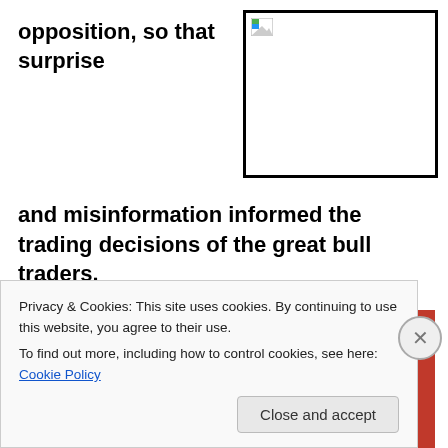opposition, so that surprise
[Figure (photo): Broken image placeholder with small icon in top-left corner, shown inside a thick black border box]
and misinformation informed the trading decisions of the great bull traders.
[Figure (photo): Photo of a smartphone with a red case showing a music/podcast player app interface on a red background]
Privacy & Cookies: This site uses cookies. By continuing to use this website, you agree to their use.
To find out more, including how to control cookies, see here: Cookie Policy
Close and accept